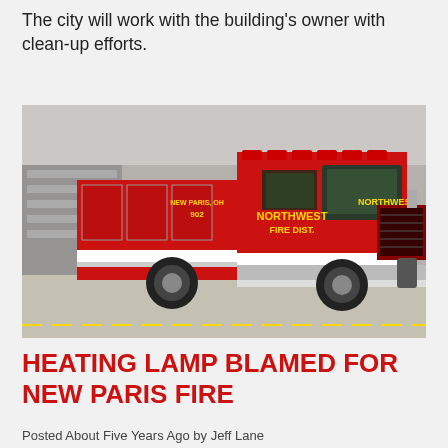The city will work with the building's owner with clean-up efforts.
[Figure (photo): A red Northwest Fire District fire truck (Engine 902, New Paris, Ohio) parked inside a fire station garage.]
HEATING LAMP BLAMED FOR NEW PARIS FIRE
Posted About Five Years Ago by Jeff Lane